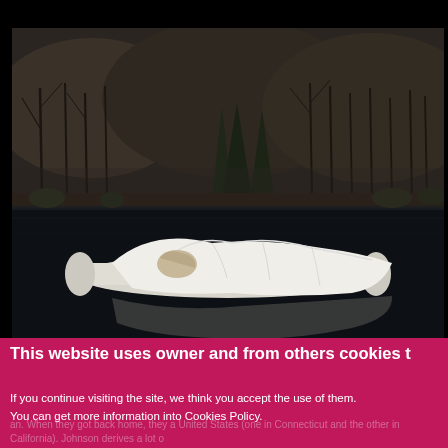[Figure (photo): A person lying wrapped in white fabric on a floating platform on a dark lake, with bare winter trees and a hillside forest in the background. The scene is moody and atmospheric, with the white figure reflected in the dark water below.]
This website uses owner and from others cookies t
If you continue visiting the site, we think you accept the use of them.
You can get more information into Cookies Policy.
an. When they got back home, they a United States (one in Connecticut and the other in California). Johnson derives a lot o